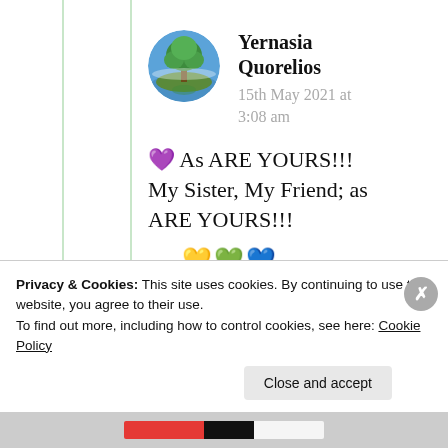[Figure (photo): Circular avatar image showing a large tree with green foliage reflected on water, against a blue sky background.]
Yernasia Quorelios
15th May 2021 at 3:08 am
💜 As ARE YOURS!!!
My Sister, My Friend; as
ARE YOURS!!!
... 💛💚💙...
Privacy & Cookies: This site uses cookies. By continuing to use this website, you agree to their use.
To find out more, including how to control cookies, see here: Cookie Policy